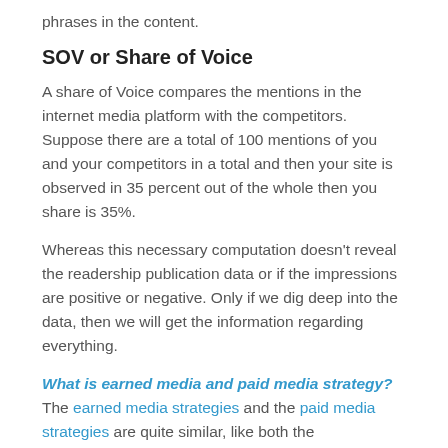phrases in the content.
SOV or Share of Voice
A share of Voice compares the mentions in the internet media platform with the competitors. Suppose there are a total of 100 mentions of you and your competitors in a total and then your site is observed in 35 percent out of the whole then you share is 35%.
Whereas this necessary computation doesn't reveal the readership publication data or if the impressions are positive or negative. Only if we dig deep into the data, then we will get the information regarding everything.
What is earned media and paid media strategy? The earned media strategies and the paid media strategies are quite similar, like both the